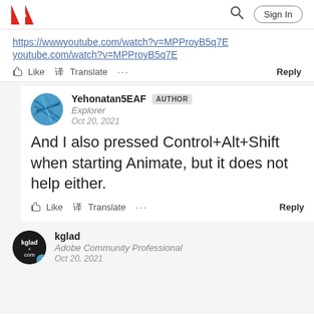Adobe logo | Search | Sign In
https://wwwyoutube.com/watch?v=MPProyB5q7E
youtube.com/watch?v=MPProyB5q7E
Like  Translate  ...  Reply
Yehonatan5EAF AUTHOR
Explorer
Oct 20, 2021
And I also pressed Control+Alt+Shift when starting Animate, but it does not help either.
Like  Translate  ...  Reply
kglad
Adobe Community Professional
Oct 20, 2021